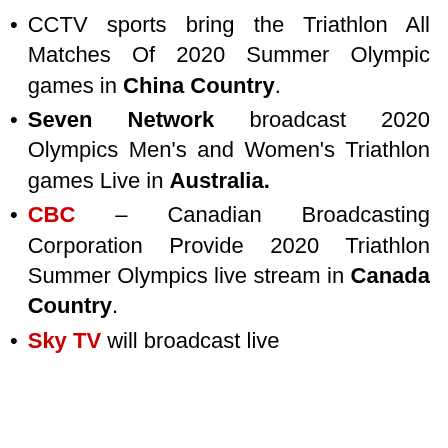CCTV sports bring the Triathlon All Matches Of 2020 Summer Olympic games in China Country.
Seven Network broadcast 2020 Olympics Men's and Women's Triathlon games Live in Australia.
CBC – Canadian Broadcasting Corporation Provide 2020 Triathlon Summer Olympics live stream in Canada Country.
Sky TV will broadcast live